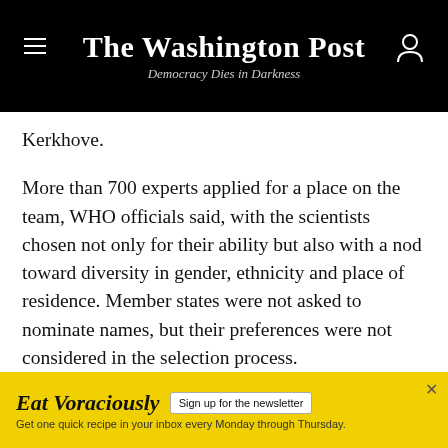The Washington Post — Democracy Dies in Darkness
Kerkhove.
More than 700 experts applied for a place on the team, WHO officials said, with the scientists chosen not only for their ability but also with a nod toward diversity in gender, ethnicity and place of residence. Member states were not asked to nominate names, but their preferences were not considered in the selection process.
Those in the group will serve, unpaid, for two-year terms, with the possibility of having their time on the
[Figure (other): Advertisement banner for 'Eat Voraciously' newsletter with yellow background, sign-up button, and close X button]